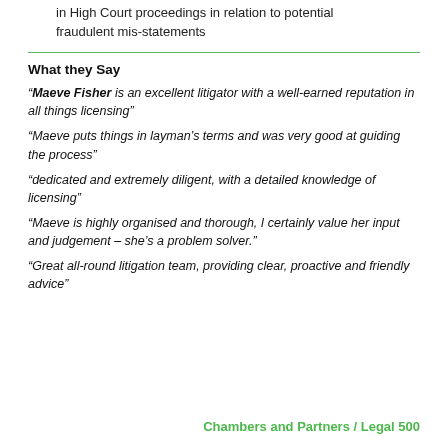in High Court proceedings in relation to potential fraudulent mis-statements
What they Say
“Maeve Fisher is an excellent litigator with a well-earned reputation in all things licensing”
“Maeve puts things in layman’s terms and was very good at guiding the process”
“dedicated and extremely diligent, with a detailed knowledge of licensing”
“Maeve is highly organised and thorough, I certainly value her input and judgement – she’s a problem solver.”
“Great all-round litigation team, providing clear, proactive and friendly advice”
Chambers and Partners / Legal 500